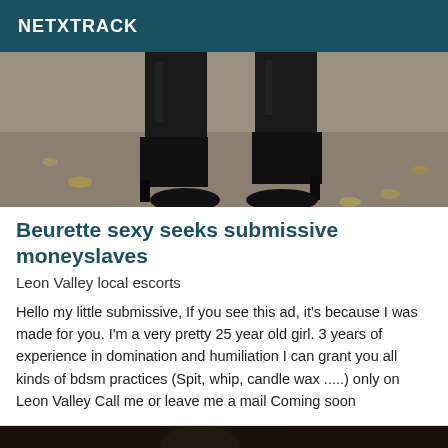NETXTRACK
[Figure (photo): Photo of legs wearing black high-heeled boots on a dirt/gravel outdoor surface with fallen leaves]
Beurette sexy seeks submissive moneyslaves
Leon Valley local escorts
Hello my little submissive, If you see this ad, it's because I was made for you. I'm a very pretty 25 year old girl. 3 years of experience in domination and humiliation I can grant you all kinds of bdsm practices (Spit, whip, candle wax .....) only on Leon Valley Call me or leave me a mail Coming soon
[Figure (photo): Dark photo showing the top of a person's head with dark hair, dimly lit]